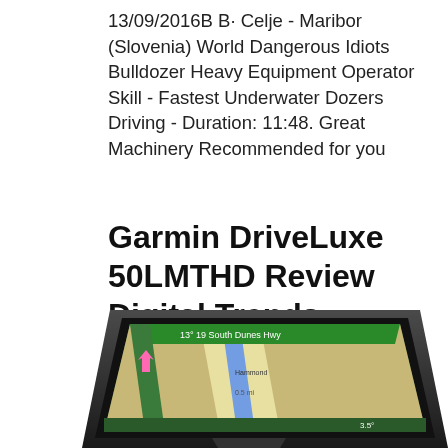13/09/2016B B· Celje - Maribor (Slovenia) World Dangerous Idiots Bulldozer Heavy Equipment Operator Skill - Fastest Underwater Dozers Driving - Duration: 11:48. Great Machinery Recommended for you
Garmin DriveLuxe 50LMTHD Review Digital Trends
[Figure (photo): Photo of a Garmin DriveLuxe 50LMTHD GPS navigation device showing a map with route directions on its screen, viewed at an angle.]